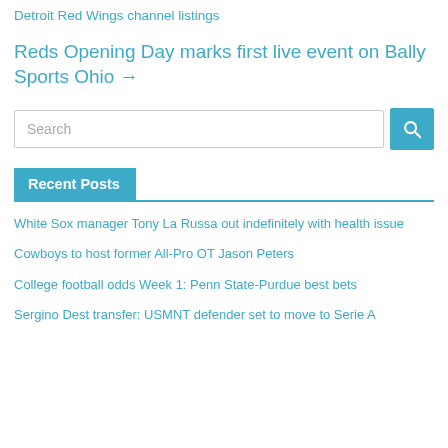Detroit Red Wings channel listings
Reds Opening Day marks first live event on Bally Sports Ohio →
[Figure (other): Search bar with text input field and blue search button with magnifying glass icon]
Recent Posts
White Sox manager Tony La Russa out indefinitely with health issue
Cowboys to host former All-Pro OT Jason Peters
College football odds Week 1: Penn State-Purdue best bets
Sergino Dest transfer: USMNT defender set to move to Serie A